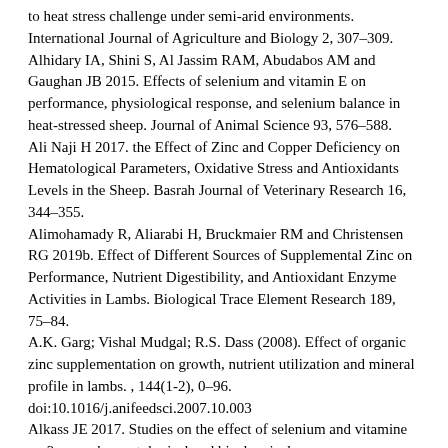to heat stress challenge under semi-arid environments. International Journal of Agriculture and Biology 2, 307–309.
Alhidary IA, Shini S, Al Jassim RAM, Abudabos AM and Gaughan JB 2015. Effects of selenium and vitamin E on performance, physiological response, and selenium balance in heat-stressed sheep. Journal of Animal Science 93, 576–588.
Ali Naji H 2017. the Effect of Zinc and Copper Deficiency on Hematological Parameters, Oxidative Stress and Antioxidants Levels in the Sheep. Basrah Journal of Veterinary Research 16, 344–355.
Alimohamady R, Aliarabi H, Bruckmaier RM and Christensen RG 2019b. Effect of Different Sources of Supplemental Zinc on Performance, Nutrient Digestibility, and Antioxidant Enzyme Activities in Lambs. Biological Trace Element Research 189, 75–84.
A.K. Garg; Vishal Mudgal; R.S. Dass (2008). Effect of organic zinc supplementation on growth, nutrient utilization and mineral profile in lambs. , 144(1-2), 0–96. doi:10.1016/j.anifeedsci.2007.10.003
Alkass JE 2017. Studies on the effect of selenium and vitamine on 2. some haematological and biochemical parameters in lambs.